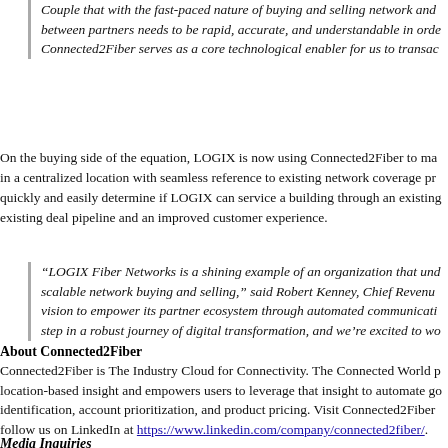Couple that with the fast-paced nature of buying and selling network and between partners needs to be rapid, accurate, and understandable in order. Connected2Fiber serves as a core technological enabler for us to transact.
On the buying side of the equation, LOGIX is now using Connected2Fiber to manage in a centralized location with seamless reference to existing network coverage pr. quickly and easily determine if LOGIX can service a building through an existing existing deal pipeline and an improved customer experience.
“LOGIX Fiber Networks is a shining example of an organization that understands scalable network buying and selling,” said Robert Kenney, Chief Revenue vision to empower its partner ecosystem through automated communication step in a robust journey of digital transformation, and we’re excited to work.
About Connected2Fiber
Connected2Fiber is The Industry Cloud for Connectivity. The Connected World provides location-based insight and empowers users to leverage that insight to automate goal identification, account prioritization, and product pricing. Visit Connected2Fiber and follow us on LinkedIn at https://www.linkedin.com/company/connected2fiber/.
Media Inquiries